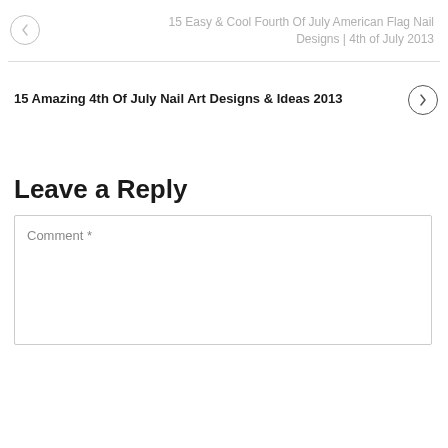15 Easy & Cool Fourth Of July American Flag Nail Designs | 4th of July 2013
15 Amazing 4th Of July Nail Art Designs & Ideas 2013
Leave a Reply
Comment *